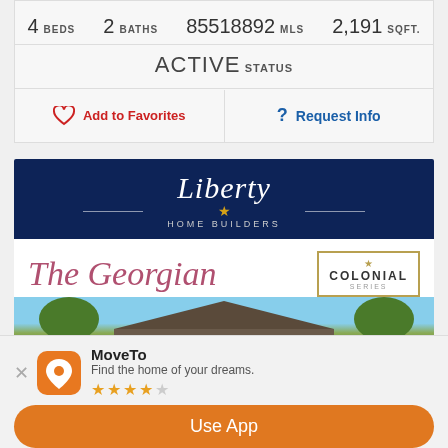| 4 BEDS | 2 BATHS | 85518892 MLS | 2,191 SQFT. |
| ACTIVE STATUS |  |  |  |
Add to Favorites
Request Info
[Figure (logo): Liberty Home Builders logo on dark navy background with script text and star]
[Figure (illustration): The Georgian script text with Colonial Series badge and partial house exterior photo]
MoveTo
Find the home of your dreams.
Use App